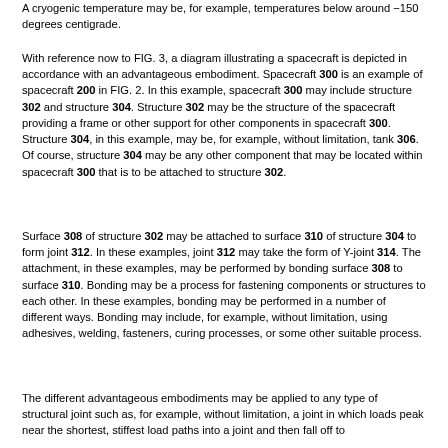A cryogenic temperature may be, for example, temperatures below around −150 degrees centigrade.
With reference now to FIG. 3, a diagram illustrating a spacecraft is depicted in accordance with an advantageous embodiment. Spacecraft 300 is an example of spacecraft 200 in FIG. 2. In this example, spacecraft 300 may include structure 302 and structure 304. Structure 302 may be the structure of the spacecraft providing a frame or other support for other components in spacecraft 300. Structure 304, in this example, may be, for example, without limitation, tank 306. Of course, structure 304 may be any other component that may be located within spacecraft 300 that is to be attached to structure 302.
Surface 308 of structure 302 may be attached to surface 310 of structure 304 to form joint 312. In these examples, joint 312 may take the form of Y-joint 314. The attachment, in these examples, may be performed by bonding surface 308 to surface 310. Bonding may be a process for fastening components or structures to each other. In these examples, bonding may be performed in a number of different ways. Bonding may include, for example, without limitation, using adhesives, welding, fasteners, curing processes, or some other suitable process.
The different advantageous embodiments may be applied to any type of structural joint such as, for example, without limitation, a joint in which loads peak near the shortest, stiffest load paths into a joint and then fall off to